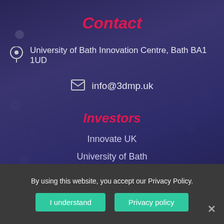Contact
University of Bath Innovation Centre, Bath BA1 1UD
info@3dmp.uk
Investors
Innovate UK
University of Bath
Site Links
By using this website, you accept our Privacy Policy.